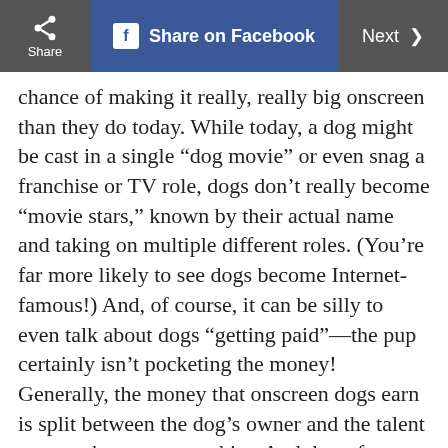Share | Share on Facebook | Next >
chance of making it really, really big onscreen than they do today. While today, a dog might be cast in a single “dog movie” or even snag a franchise or TV role, dogs don’t really become “movie stars,” known by their actual name and taking on multiple different roles. (You’re far more likely to see dogs become Internet-famous!) And, of course, it can be silly to even talk about dogs “getting paid”—the pup certainly isn’t pocketing the money! Generally, the money that onscreen dogs earn is split between the dog’s owner and the talent agency that represents him. And these four canine luminaries of Hollywood yesteryear earned lots—and lots—of money. If these well-paid pooches are a little before your time, find out the